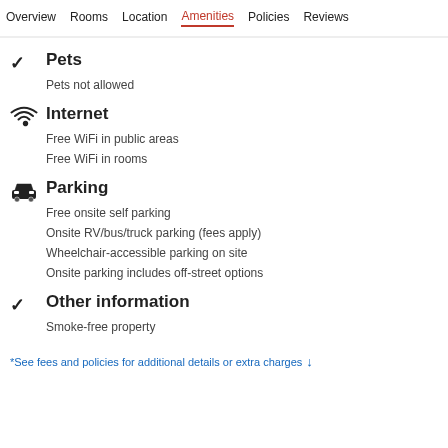Overview  Rooms  Location  Amenities  Policies  Reviews
Pets
Pets not allowed
Internet
Free WiFi in public areas
Free WiFi in rooms
Parking
Free onsite self parking
Onsite RV/bus/truck parking (fees apply)
Wheelchair-accessible parking on site
Onsite parking includes off-street options
Other information
Smoke-free property
*See fees and policies for additional details or extra charges ↓